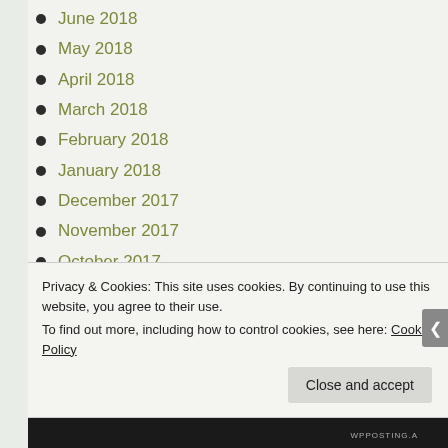June 2018
May 2018
April 2018
March 2018
February 2018
January 2018
December 2017
November 2017
October 2017
September 2017
August 2017
July 2017
June 2017
May 2017
April 2017
Privacy & Cookies: This site uses cookies. By continuing to use this website, you agree to their use. To find out more, including how to control cookies, see here: Cookie Policy